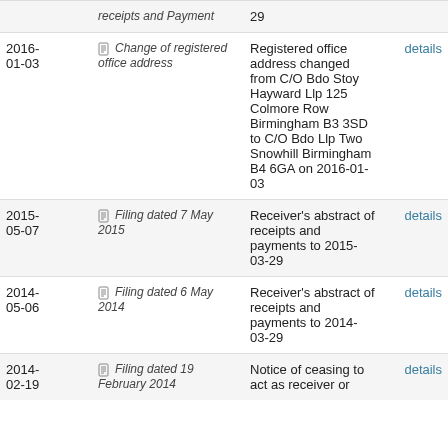| Date | Type | Description | Action |
| --- | --- | --- | --- |
|  | receipts and Payment | 29 |  |
| 2016-01-03 | Change of registered office address | Registered office address changed from C/O Bdo Stoy Hayward Llp 125 Colmore Row Birmingham B3 3SD to C/O Bdo Llp Two Snowhill Birmingham B4 6GA on 2016-01-03 | details |
| 2015-05-07 | Filing dated 7 May 2015 | Receiver's abstract of receipts and payments to 2015-03-29 | details |
| 2014-05-06 | Filing dated 6 May 2014 | Receiver's abstract of receipts and payments to 2014-03-29 | details |
| 2014-02-19 | Filing dated 19 February 2014 | Notice of ceasing to act as receiver or | details |